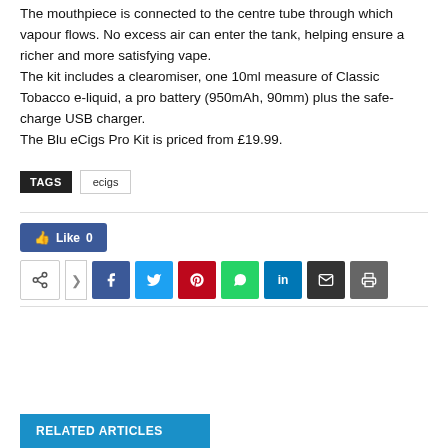The mouthpiece is connected to the centre tube through which vapour flows. No excess air can enter the tank, helping ensure a richer and more satisfying vape. The kit includes a clearomiser, one 10ml measure of Classic Tobacco e-liquid, a pro battery (950mAh, 90mm) plus the safe-charge USB charger. The Blu eCigs Pro Kit is priced from £19.99.
TAGS  ecigs
[Figure (infographic): Social share bar with Like button (Facebook, count 0) and share icons for Facebook, Twitter, Pinterest, WhatsApp, LinkedIn, Email, Print]
RELATED ARTICLES